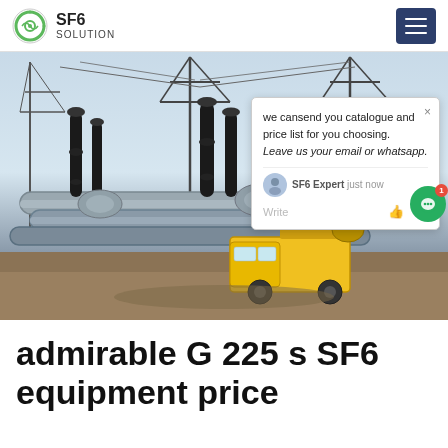SF6 SOLUTION
[Figure (photo): Electrical substation with SF6 gas insulated switchgear, high voltage equipment, towers, cables, and a yellow utility truck. A chat popup overlay is visible on the right side of the image.]
admirable G 225 s SF6 equipment price